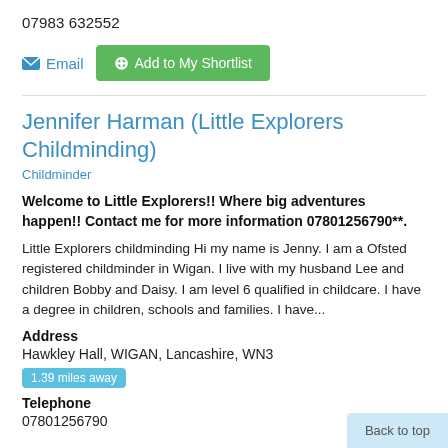07983 632552
[Figure (screenshot): Email link icon and Add to My Shortlist green button]
Jennifer Harman (Little Explorers Childminding)
Childminder
Welcome to Little Explorers!! Where big adventures happen!! Contact me for more information 07801256790**.
Little Explorers childminding Hi my name is Jenny. I am a Ofsted registered childminder in Wigan. I live with my husband Lee and children Bobby and Daisy. I am level 6 qualified in childcare. I have a degree in children, schools and families. I have...
Address
Hawkley Hall, WIGAN, Lancashire, WN3
1.39 miles away
Telephone
07801256790